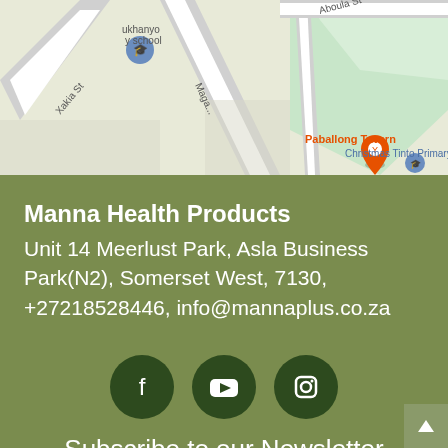[Figure (map): Google Maps screenshot showing street map with Paballong Tavern marker, Christmas Tinto Primary school, ukhanyo y school, Xakia St, Maga street, Aboula St visible]
Manna Health Products
Unit 14 Meerlust Park, Asla Business Park(N2), Somerset West, 7130, +27218528446, info@mannaplus.co.za
[Figure (infographic): Social media icons: Facebook, YouTube, Instagram — white icons on dark green circles]
Subscribe to our Newsletter
Name *